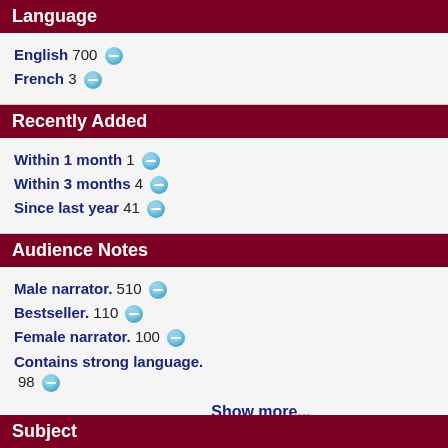Language
English 700
French 3
Recently Added
Within 1 month 1
Within 3 months 4
Since last year 41
Audience Notes
Male narrator. 510
Bestseller. 110
Female narrator. 100
Contains strong language. 98
Show more...
Subject
Halberstam, Dav
BR009337
1993
8 v. of press bra
Braille
2. Kissinger : : a b
Isaacson, Walte
BR009372
1992
10 v. of press br
Braille